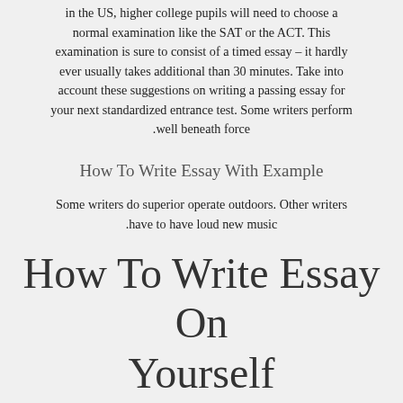in the US, higher college pupils will need to choose a normal examination like the SAT or the ACT. This examination is sure to consist of a timed essay – it hardly ever usually takes additional than 30 minutes. Take into account these suggestions on writing a passing essay for your next standardized entrance test. Some writers perform well beneath force.
How To Write Essay With Example
Some writers do superior operate outdoors. Other writers have to have loud new music.
How To Write Essay On Yourself
Even now other writers call for library configurations to total their greatest compositions. Whatsoever your needs, the most essential issue is to ascertain what functions very well for you. Once you have chosen the top notch algorithm of